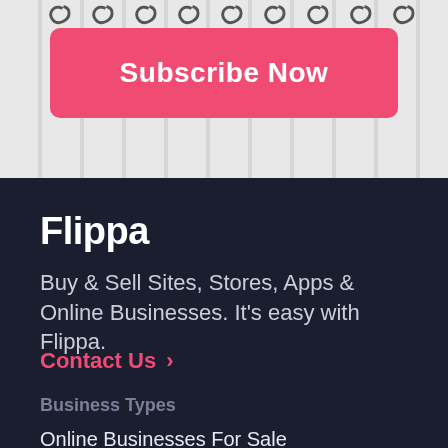[Figure (other): Subscribe Now button — pink/coral rounded rectangle button with white bold text 'Subscribe Now', shown on a light grey background with spiral notebook binding decorations along the top]
Flippa
Buy & Sell Sites, Stores, Apps & Online Businesses. It's easy with Flippa.
Contact Us >
Business Types
Online Businesses For Sale